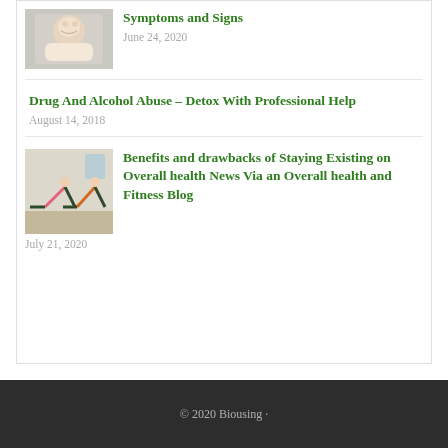[Figure (photo): Baby photo thumbnail for article about symptoms and signs]
Symptoms and Signs
June 24, 2020
Drug And Alcohol Abuse – Detox With Professional Help
August 14, 2018
[Figure (photo): People doing yoga/stretching exercises in a studio]
Benefits and drawbacks of Staying Existing on Overall health News Via an Overall health and Fitness Blog
July 21, 2020
© 2020 Biousing ·